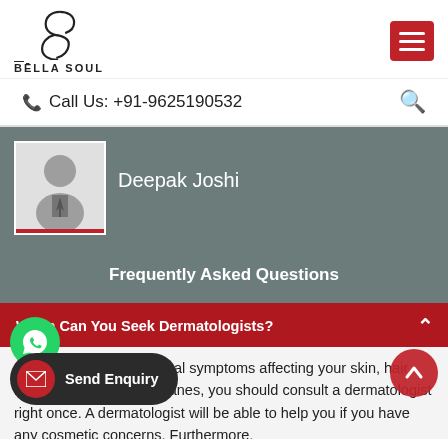[Figure (logo): Bella Soul logo with stylized B letter mark and text BĒLLA SOUL]
Call Us: +91-9625190532
[Figure (photo): Profile photo of Deepak Joshi - generic placeholder silhouette]
Deepak Joshi
Frequently Asked Questions
When Can You Seek Dermatologists?
If you've seen any unusual symptoms affecting your skin, hair, nails, or mucous membranes, you should consult a dermatologist right once. A dermatologist will be able to help you if you have any cosmetic concerns. Furthermore,